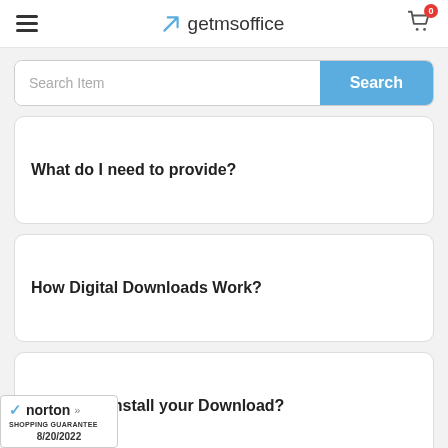getmsoffice — navigation header with hamburger menu, brand logo, and cart (0)
[Figure (screenshot): Search bar with 'Search Item' placeholder text on the left and a blue 'Search' button on the right]
What do I need to provide?
How Digital Downloads Work?
How to uninstall your Download?
[Figure (logo): Norton Shopping Guarantee badge with checkmark, dated 8/20/2022]